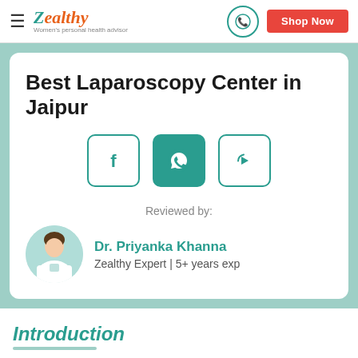Zealthy – Women's personal health advisor | Shop Now
Best Laparoscopy Center in Jaipur
[Figure (other): Social share icons: Facebook, WhatsApp, and a share/forward icon, each in a rounded square border in teal]
Reviewed by:
Dr. Priyanka Khanna
Zealthy Expert | 5+ years exp
Introduction